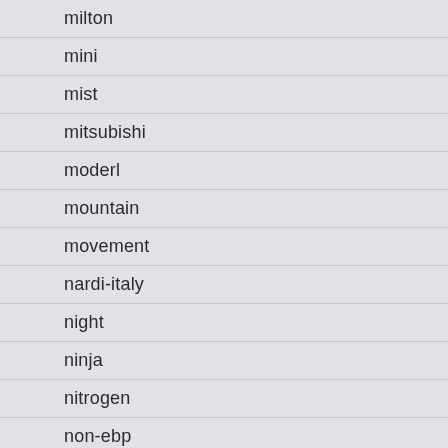milton
mini
mist
mitsubishi
moderl
mountain
movement
nardi-italy
night
ninja
nitrogen
non-ebp